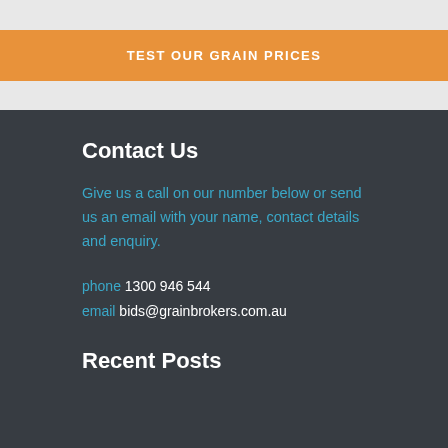TEST OUR GRAIN PRICES
Contact Us
Give us a call on our number below or send us an email with your name, contact details and enquiry.
phone 1300 946 544
email bids@grainbrokers.com.au
Recent Posts